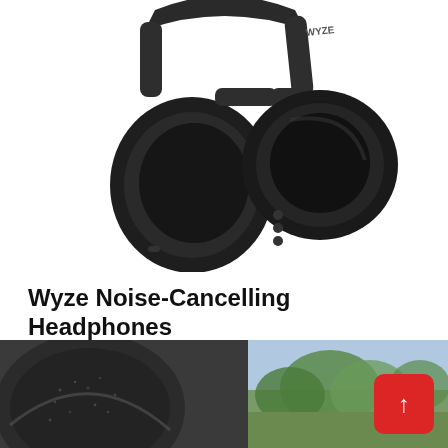[Figure (photo): Close-up photo of black Wyze over-ear noise-cancelling headphones showing the ear cup and headband with WYZE branding, on a white background.]
Wyze Noise-Cancelling Headphones
Best budget wireless headphones
[Figure (photo): Close-up photo of the ear cushion of a headphone on the left and an outdoor blurred background on the right, partially visible at the bottom of the page.]